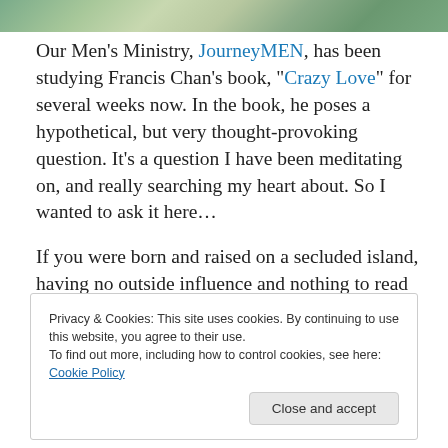[Figure (photo): Top banner image showing a water/nature scene with green and teal tones]
Our Men’s Ministry, JourneyMEN, has been studying Francis Chan’s book, “Crazy Love” for several weeks now. In the book, he poses a hypothetical, but very thought-provoking question. It’s a question I have been meditating on, and really searching my heart about. So I wanted to ask it here…
If you were born and raised on a secluded island, having no outside influence and nothing to read but the Bible, what would church look like in your mind? And if you were
Privacy & Cookies: This site uses cookies. By continuing to use this website, you agree to their use.
To find out more, including how to control cookies, see here: Cookie Policy
Close and accept